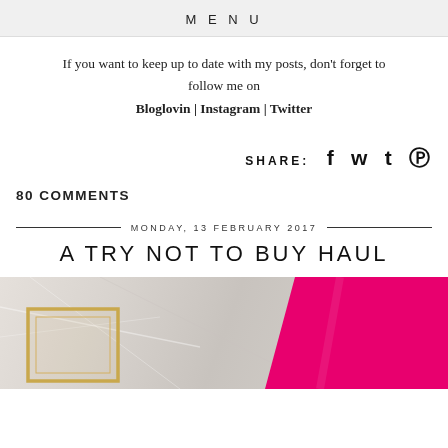MENU
If you want to keep up to date with my posts, don't forget to follow me on Bloglovin | Instagram | Twitter
SHARE: f t t ®
80 COMMENTS
MONDAY, 13 FEBRUARY 2017
A TRY NOT TO BUY HAUL
[Figure (photo): A flat lay photo on a marble surface showing a gold frame and a bright pink rectangular object, likely shopping haul items.]